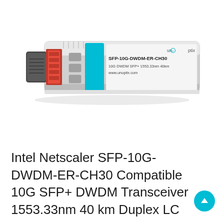[Figure (photo): SFP-10G-DWDM-ER-CH30 transceiver module by Unoptix. Silver metallic SFP+ form factor with black pull tab on left, red/orange fiber connectors, and teal DWDM label. Text on module: SFP-10G-DWDM-ER-CH30, 10G DWDM SFP+ 1553.33nm 40km, www.unoptix.com]
Intel Netscaler SFP-10G-DWDM-ER-CH30 Compatible 10G SFP+ DWDM Transceiver 1553.33nm 40 km Duplex LC